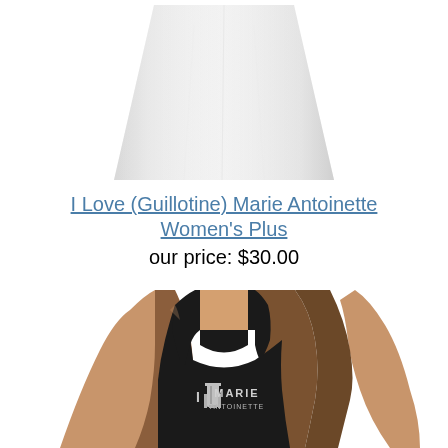[Figure (photo): White women's plus size t-shirt product photo, upper portion visible against white background]
I Love (Guillotine) Marie Antoinette Women's Plus
our price: $30.00
[Figure (photo): Woman wearing a black racerback tank top with 'I [guillotine] MARIE ANTOINETTE' graphic print in white]